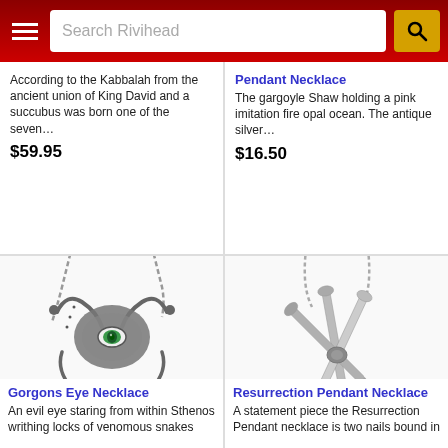Search Rivihead
According to the Kabbalah from the ancient union of King David and a succubus was born one of the seven…
$59.95
Pendant Necklace
The gargoyle Shaw holding a pink imitation fire opal ocean. The antique silver…
$16.50
[Figure (photo): Gorgons Eye Necklace pendant — silver snake pendant with green eye center on chain]
Gorgons Eye Necklace
An evil eye staring from within Sthenos writhing locks of venomous snakes
[Figure (photo): Resurrection Pendant Necklace — three silver nails crossed and bound on chain]
Resurrection Pendant Necklace
A statement piece the Resurrection Pendant necklace is two nails bound in